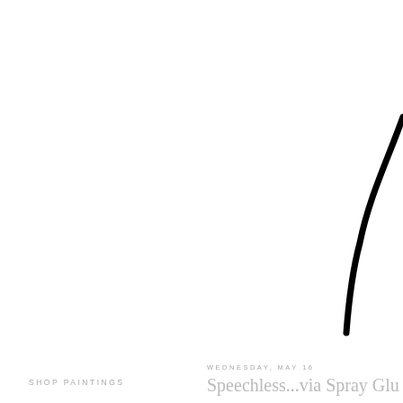[Figure (illustration): A sweeping curved black brushstroke line on white background, curving from upper right area downward, partially cut off at the right edge of the page.]
SHOP PAINTINGS
WEDNESDAY, MAY 16
Speechless...via Spray Glue